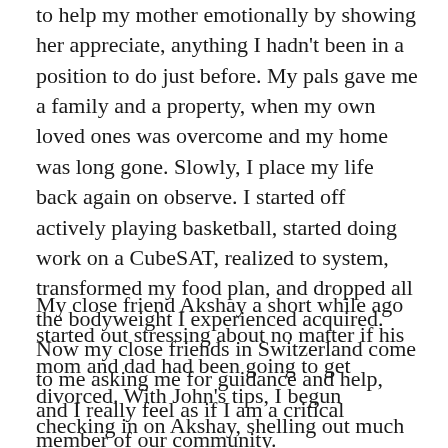to help my mother emotionally by showing her appreciate, anything I hadn't been in a position to do just before. My pals gave me a family and a property, when my own loved ones was overcome and my home was long gone. Slowly, I place my life back again on observe. I started off actively playing basketball, started doing work on a CubeSAT, realized to system, transformed my food plan, and dropped all the bodyweight I experienced acquired. Now my close friends in Switzerland come to me asking me for guidance and help, and I really feel as if I am a critical member of our community.
My close friend Akshay a short while ago started out stressing about no matter if his mom and dad had been going to get divorced. With John's tips, I begun checking in on Akshay, shelling out much more time with him, and coaching him in advance of and right after he talked to his parents.